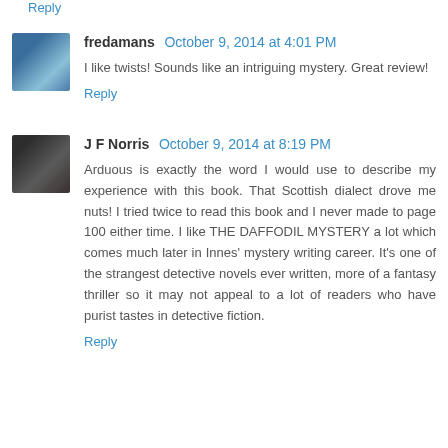Reply
[Figure (photo): Avatar photo of fredamans, a woman in blue clothing]
fredamans October 9, 2014 at 4:01 PM
I like twists! Sounds like an intriguing mystery. Great review!
Reply
[Figure (photo): Avatar photo of J F Norris, a man with dark hair]
J F Norris October 9, 2014 at 8:19 PM
Arduous is exactly the word I would use to describe my experience with this book. That Scottish dialect drove me nuts! I tried twice to read this book and I never made to page 100 either time. I like THE DAFFODIL MYSTERY a lot which comes much later in Innes' mystery writing career. It's one of the strangest detective novels ever written, more of a fantasy thriller so it may not appeal to a lot of readers who have purist tastes in detective fiction.
Reply